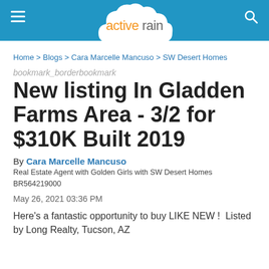activerain
Home > Blogs > Cara Marcelle Mancuso > SW Desert Homes
bookmark_borderbookmark
New listing In Gladden Farms Area - 3/2 for $310K Built 2019
By Cara Marcelle Mancuso
Real Estate Agent with Golden Girls with SW Desert Homes BR564219000
May 26, 2021 03:36 PM
Here's a fantastic opportunity to buy LIKE NEW ! Listed by Long Realty, Tucson, AZ